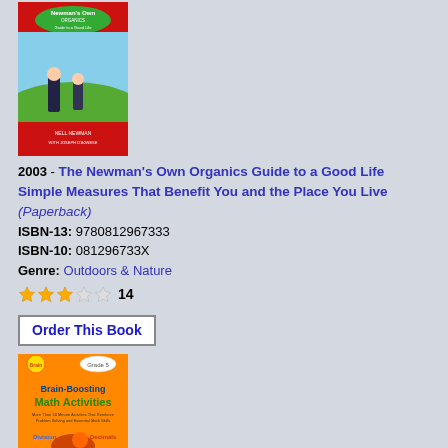[Figure (photo): Book cover: Newman's Own Organics Guide to a Good Life]
2003 - The Newman's Own Organics Guide to a Good Life Simple Measures That Benefit You and the Place You Live (Paperback)
ISBN-13: 9780812967333
ISBN-10: 081296733X
Genre: Outdoors & Nature
14
Order This Book
[Figure (photo): Book cover: Brainboosting Math Activities Grade 5]
2002 - Brainboosting Math Activities More Than 50 Great Activities That